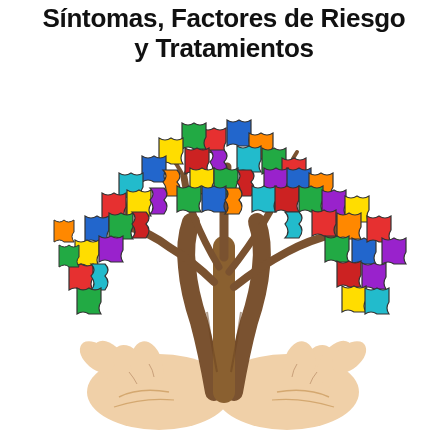Síntomas, Factores de Riesgo y Tratamientos
[Figure (illustration): Colorful illustration of a tree whose canopy is made of multicolored autism puzzle pieces (blue, red, green, yellow, orange, purple, teal, dark red) held up by two cupped human hands, with a gnarled brown trunk. The puzzle pieces form a dense, rounded canopy representing neurodiversity.]